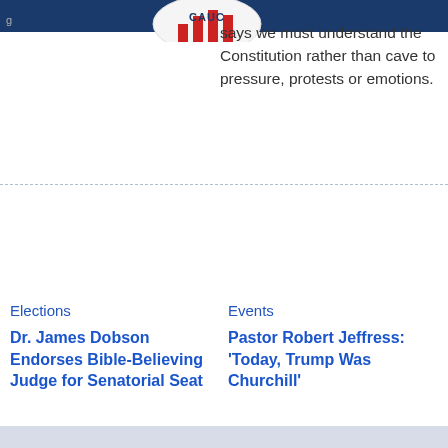[Figure (logo): Caucus logo button with red and blue stripes, partially cropped at top]
says we must understand the Constitution rather than cave to pressure, protests or emotions.
Elections
Dr. James Dobson Endorses Bible-Believing Judge for Senatorial Seat
Events
Pastor Robert Jeffress: 'Today, Trump Was Churchill'